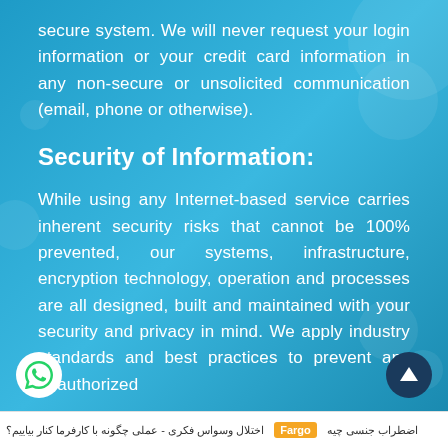secure system. We will never request your login information or your credit card information in any non-secure or unsolicited communication (email, phone or otherwise).
Security of Information:
While using any Internet-based service carries inherent security risks that cannot be 100% prevented, our systems, infrastructure, encryption technology, operation and processes are all designed, built and maintained with your security and privacy in mind. We apply industry standards and best practices to prevent any unauthorized
اختلال وسواس فکری - عملی چگونه با کارفرما کنار بیاییم؟ Fargo اضطراب جنسی چیه